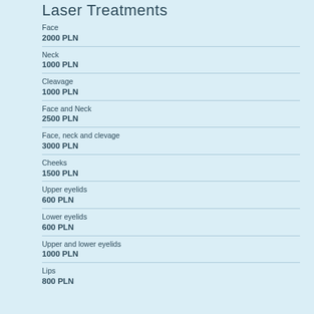Laser Treatments
Face
2000 PLN
Neck
1000 PLN
Cleavage
1000 PLN
Face and Neck
2500 PLN
Face, neck and clevage
3000 PLN
Cheeks
1500 PLN
Upper eyelids
600 PLN
Lower eyelids
600 PLN
Upper and lower eyelids
1000 PLN
Lips
800 PLN